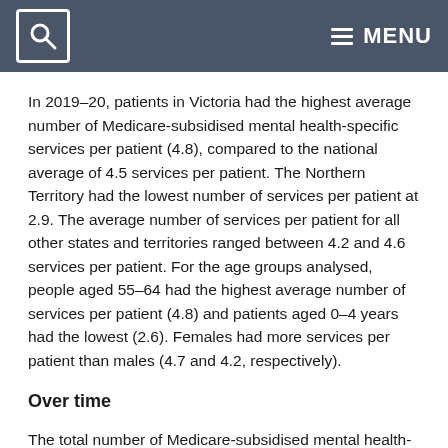MENU
In 2019–20, patients in Victoria had the highest average number of Medicare-subsidised mental health-specific services per patient (4.8), compared to the national average of 4.5 services per patient. The Northern Territory had the lowest number of services per patient at 2.9. The average number of services per patient for all other states and territories ranged between 4.2 and 4.6 services per patient. For the age groups analysed, people aged 55–64 had the highest average number of services per patient (4.8) and patients aged 0–4 years had the lowest (2.6). Females had more services per patient than males (4.7 and 4.2, respectively).
Over time
The total number of Medicare-subsidised mental health-specific services increased from 7.0 million in 2009–10 to 12.4 million in 2019–20; increasing from 319.6 services per 1,000 population in 2009–10 to 486.1 in 2019–20 (Figure MBS.6). The increase in the